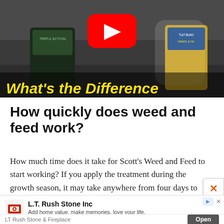[Figure (screenshot): YouTube video thumbnail showing lawn fertilizer bags (Scotts Triple Action and Turf Builder Weed & Feed) with a man in a white hoodie, overlaid with bold yellow italic text 'What's the Difference' and a YouTube play button]
How quickly does weed and feed work?
How much time does it take for Scott's Weed and Feed to start working? If you apply the treatment during the growth season, it may take anywhere from four days to one month before you see the full effects, depending on the
[Figure (screenshot): Advertisement banner for L.T. Rush Stone Inc with logo, company name, tagline 'Add home value, make memories, love your life.', source 'LT Rush Stone & Fireplace', and an 'Open' button]